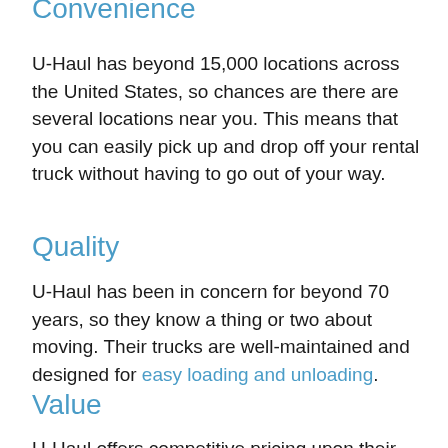Convenience
U-Haul has beyond 15,000 locations across the United States, so chances are there are several locations near you. This means that you can easily pick up and drop off your rental truck without having to go out of your way.
Quality
U-Haul has been in concern for beyond 70 years, so they know a thing or two about moving. Their trucks are well-maintained and designed for easy loading and unloading.
Value
U-Haul offers competitive pricing upon their moving trucks and services. They also give discounts for